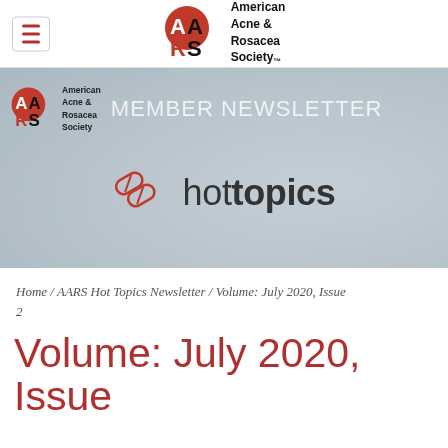[Figure (logo): American Acne & Rosacea Society (AARS) logo with circular red/black emblem and organization name, in top navigation bar with hamburger menu icon]
[Figure (photo): Banner image showing AARS logo on left, 'MEMBER NEWSLETTER' text in large light letters, 'hot topics' branding with pill capsule icon, over a blurred medical/doctor background photo]
Home / AARS Hot Topics Newsletter / Volume: July 2020, Issue 2
Volume: July 2020, Issue